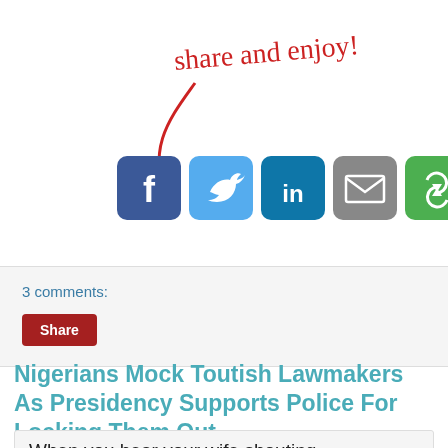[Figure (illustration): Handwritten red text 'share and enjoy!' with a red curved arrow pointing down-left toward social media share buttons (Facebook, Twitter, LinkedIn, Email, Share).]
3 comments:
Share
Nigerians Mock Toutish Lawmakers As Presidency Supports Police For Locking Them Out
When you hear your wife shouting